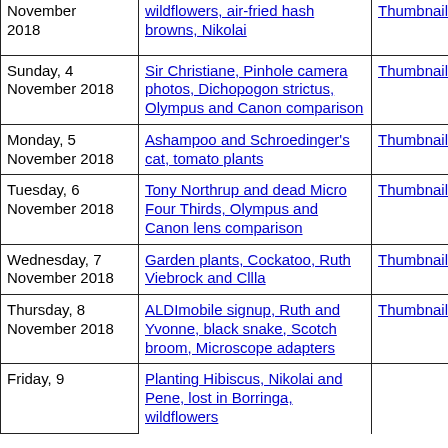| Date | Description | Thumbnails | Small photos | dia |
| --- | --- | --- | --- | --- |
| November 2018 | wildflowers, air-fried hash browns, Nikolai | Thumbnails | Small photos | dia |
| Sunday, 4 November 2018 | Sir Christiane, Pinhole camera photos, Dichopogon strictus, Olympus and Canon comparison | Thumbnails | Small photos | dia |
| Monday, 5 November 2018 | Ashampoo and Schroedinger's cat, tomato plants | Thumbnails | Small photos | dia |
| Tuesday, 6 November 2018 | Tony Northrup and dead Micro Four Thirds, Olympus and Canon lens comparison | Thumbnails | Small photos | dia |
| Wednesday, 7 November 2018 | Garden plants, Cockatoo, Ruth Viebrock and Cllla | Thumbnails | Small photos | dia |
| Thursday, 8 November 2018 | ALDImobile signup, Ruth and Yvonne, black snake, Scotch broom, Microscope adapters | Thumbnails | Small photos | dia |
| Friday, 9 | Planting Hibiscus, Nikolai and Pene, lost in Borringa, wildflowers | Thumbnails | Small photos | dia |